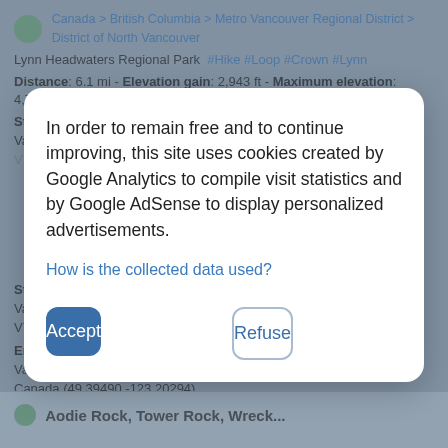Canada > British Columbia > Metro Vancouver Regional District > District of North Vancouver
Lynn Headwaters Regional Park #Hike #Loop #Crown #Lynn
Distance: 6.1 mi - Elevation gain: 2,943 ft - Maximum elevation: 4,787 ft - Coordinates: 49.37946 -123.09223 49.41001 -123.07752
Start: Ampitheater, Grouse Mountain Highway, District of North Vancouver, Metro Vancouver Regional District, British Columbia, V7R...
In order to remain free and to continue improving, this site uses cookies created by Google Analytics to compile visit statistics and by Google AdSense to display personalized advertisements.
How is the collected data used?
Accept
Refuse
Start: Cypress Bowl Road, West Vancouver, District of North Vancouver, Metro Vancouver Regional District, British Columbia, V7V 3G9, Canada (49.39493 -123.20268)
End: Lot 1A, Ski Out, West Vancouver, District of North Vancouver, Metro Vancouver Regional District, British Columbia, Canada (49.39490 -123.20294)
Aodie Rock, Tower Rock, Wreck...